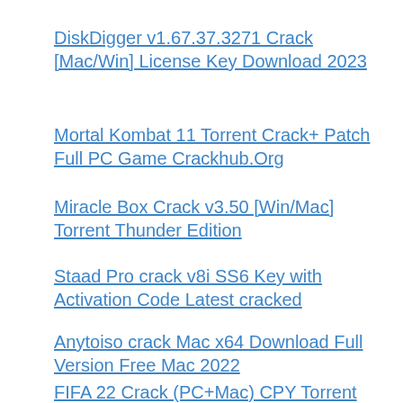DiskDigger v1.67.37.3271 Crack [Mac/Win] License Key Download 2023
Mortal Kombat 11 Torrent Crack+ Patch Full PC Game Crackhub.Org
Miracle Box Crack v3.50 [Win/Mac] Torrent Thunder Edition
Staad Pro crack v8i SS6 Key with Activation Code Latest cracked
Anytoiso crack Mac x64 Download Full Version Free Mac 2022
FIFA 22 Crack (PC+Mac) CPY Torrent